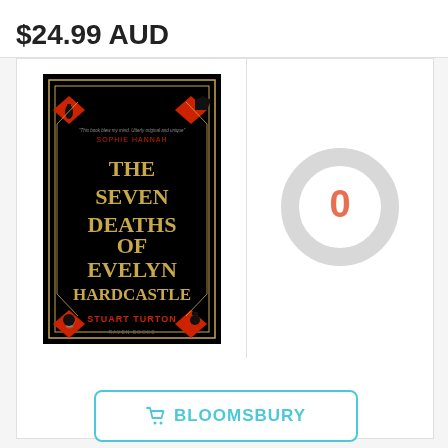$24.99 AUD
[Figure (photo): Book cover of 'The Seven Deaths of Evelyn Hardcastle' by Stuart Turton. Black background with gold Art Deco geometric border design and red diamond corner ornaments with black silhouette icons. Title in gold text, author name in red at bottom. Published by Raven Books.]
[Figure (infographic): Circular progress/rating indicator showing the number 0 in orange/coral color, with a light gray ring outline.]
BLOOMSBURY